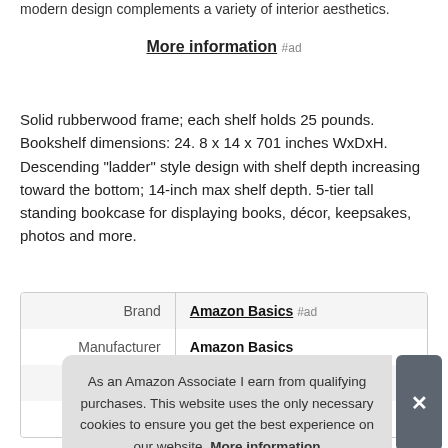modern design complements a variety of interior aesthetics.
More information #ad
Solid rubberwood frame; each shelf holds 25 pounds. Bookshelf dimensions: 24. 8 x 14 x 701 inches WxDxH. Descending "ladder" style design with shelf depth increasing toward the bottom; 14-inch max shelf depth. 5-tier tall standing bookcase for displaying books, décor, keepsakes, photos and more.
|  |  |
| --- | --- |
| Brand | Amazon Basics #ad |
| Manufacturer | Amazon Basics |
As an Amazon Associate I earn from qualifying purchases. This website uses the only necessary cookies to ensure you get the best experience on our website. More information